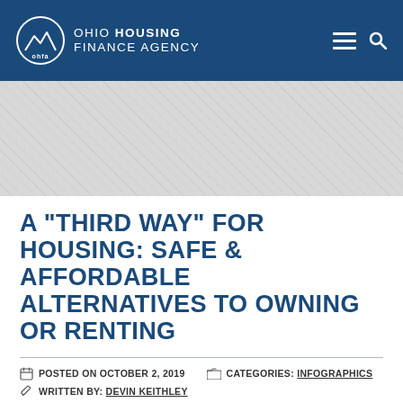OHIO HOUSING FINANCE AGENCY
[Figure (photo): Hero banner area with light grey textured/pattern background]
A "THIRD WAY" FOR HOUSING: SAFE & AFFORDABLE ALTERNATIVES TO OWNING OR RENTING
POSTED ON OCTOBER 2, 2019   CATEGORIES: INFOGRAPHICS
WRITTEN BY: DEVIN KEITHLEY